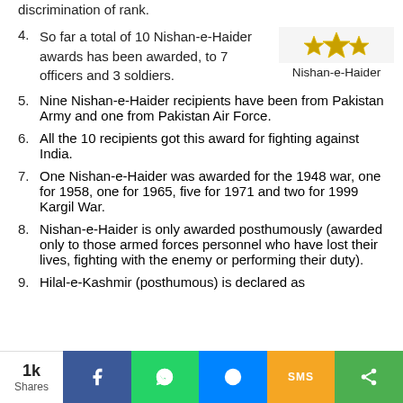4. So far a total of 10 Nishan-e-Haider awards has been awarded, to 7 officers and 3 soldiers.
[Figure (illustration): Nishan-e-Haider medal/award graphic — gold star and golden elements on white background]
Nishan-e-Haider
5. Nine Nishan-e-Haider recipients have been from Pakistan Army and one from Pakistan Air Force.
6. All the 10 recipients got this award for fighting against India.
7. One Nishan-e-Haider was awarded for the 1948 war, one for 1958, one for 1965, five for 1971 and two for 1999 Kargil War.
8. Nishan-e-Haider is only awarded posthumously (awarded only to those armed forces personnel who have lost their lives, fighting with the enemy or performing their duty).
9. Hilal-e-Kashmir (posthumous) is declared as
1k Shares | Facebook | WhatsApp | Messenger | SMS | Share